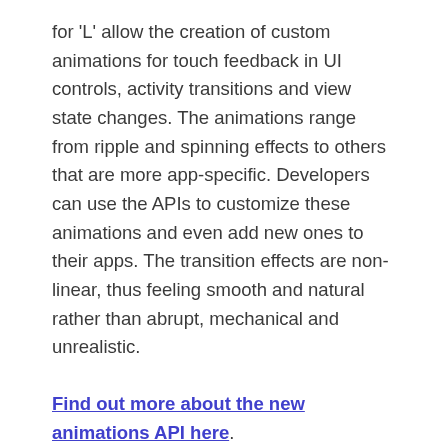for 'L' allow the creation of custom animations for touch feedback in UI controls, activity transitions and view state changes. The animations range from ripple and spinning effects to others that are more app-specific. Developers can use the APIs to customize these animations and even add new ones to their apps. The transition effects are non-linear, thus feeling smooth and natural rather than abrupt, mechanical and unrealistic.
Find out more about the new animations API here.
Dimension Design